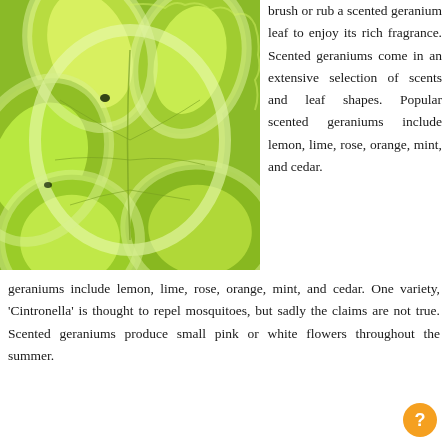[Figure (photo): Close-up photograph of green and white variegated scented geranium leaves with ruffled edges]
brush or rub a scented geranium leaf to enjoy its rich fragrance. Scented geraniums come in an extensive selection of scents and leaf shapes. Popular scented geraniums include lemon, lime, rose, orange, mint, and cedar. One variety, 'Cintronella' is thought to repel mosquitoes, but sadly the claims are not true. Scented geraniums produce small pink or white flowers throughout the summer.